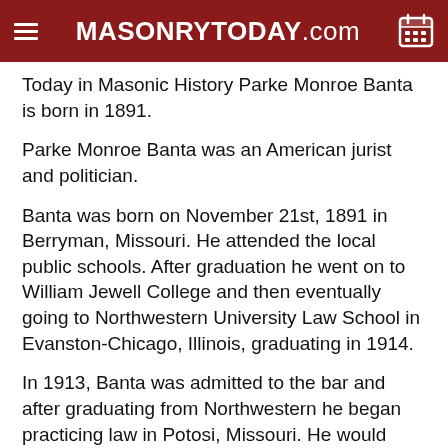MASONRYTODAY.com
Today in Masonic History Parke Monroe Banta is born in 1891.
Parke Monroe Banta was an American jurist and politician.
Banta was born on November 21st, 1891 in Berryman, Missouri. He attended the local public schools. After graduation he went on to William Jewell College and then eventually going to Northwestern University Law School in Evanston-Chicago, Illinois, graduating in 1914.
In 1913, Banta was admitted to the bar and after graduating from Northwestern he began practicing law in Potosi, Missouri. He would practice law there until 1925 when he moved to Ironton, Missouri, practicing there until 1941.
In 1917 and 1918, Banta served as the prosecuting attorney for Washington County, Missouri. In 1918 he began serving in the Army during World War I. He would work his way up the ranks from private to first lieutenant before leaving the